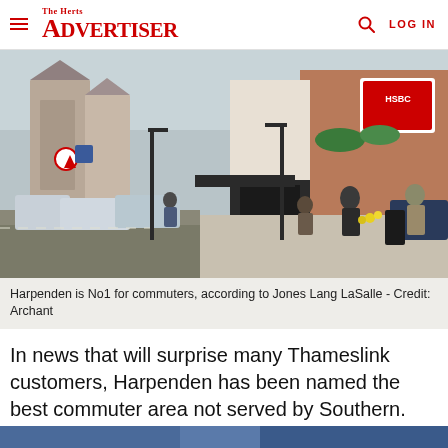The Herts Advertiser  LOG IN
[Figure (photo): Street scene in Harpenden showing shops, pedestrians and parked cars on a high street. HSBC bank sign visible on right side.]
Harpenden is No1 for commuters, according to Jones Lang LaSalle - Credit: Archant
In news that will surprise many Thameslink customers, Harpenden has been named the best commuter area not served by Southern.